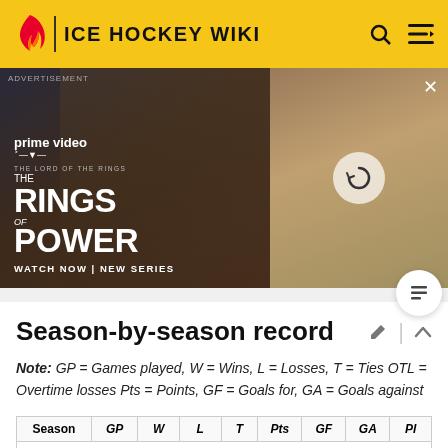ICE HOCKEY WIKI
[Figure (photo): Amazon Prime Video advertisement for 'The Lord of the Rings: The Rings of Power' new series, showing cinematic imagery of characters.]
Season-by-season record
Note: GP = Games played, W = Wins, L = Losses, T = Ties OTL = Overtime losses Pts = Points, GF = Goals for, GA = Goals against
| Season | GP | W | L | T | Pts | GF | GA | Pl |
| --- | --- | --- | --- | --- | --- | --- | --- | --- |